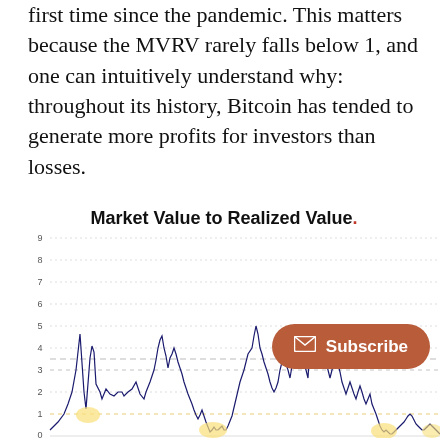first time since the pandemic. This matters because the MVRV rarely falls below 1, and one can intuitively understand why: throughout its history, Bitcoin has tended to generate more profits for investors than losses.
[Figure (continuous-plot): A continuous line chart showing Bitcoin's Market Value to Realized Value (MVRV) ratio over its history. Y-axis ranges from 0 to 9. The chart shows several historic peaks (around 8, 6.5, 6, 4.5) and multiple troughs near 1 (highlighted with yellow circles). A horizontal dashed line sits around 3.5. There is a 'Subscribe' button overlay on the right side of the chart.]